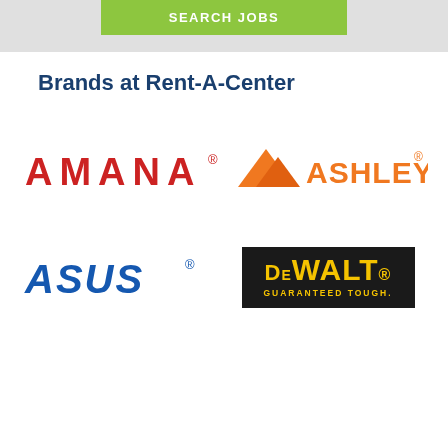[Figure (screenshot): Green 'SEARCH JOBS' button on a light gray background header bar]
Brands at Rent-A-Center
[Figure (logo): AMANA brand logo in red uppercase bold lettering with registered trademark symbol]
[Figure (logo): Ashley Furniture logo with orange mountain/arrow triangle icon and ASHLEY text in orange with registered trademark symbol]
[Figure (logo): ASUS logo in blue italic bold lettering with registered trademark symbol]
[Figure (logo): DEWALT logo in yellow text on black background with 'GUARANTEED TOUGH.' tagline and registered trademark symbol]